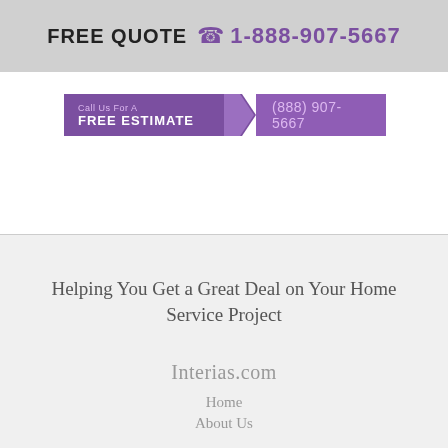FREE QUOTE  1-888-907-5667
[Figure (other): Purple call-to-action banner with 'Call Us For A FREE ESTIMATE' on the left and '(888) 907-5667' on the right, separated by an arrow shape]
Helping You Get a Great Deal on Your Home Service Project
Interias.com
Home
About Us